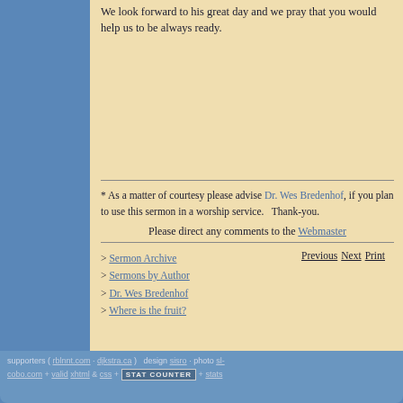We look forward to his great day and we pray that you would help us to be always ready.
* As a matter of courtesy please advise Dr. Wes Bredenhof, if you plan to use this sermon in a worship service.   Thank-you.
Please direct any comments to the Webmaster
> Sermon Archive
> Sermons by Author
> Dr. Wes Bredenhof
> Where is the fruit?
supporters ( rblnnt.com · djkstra.ca )   design sisro · photo sl-
cobo.com + valid xhtml & css + STAT COUNTER + stats